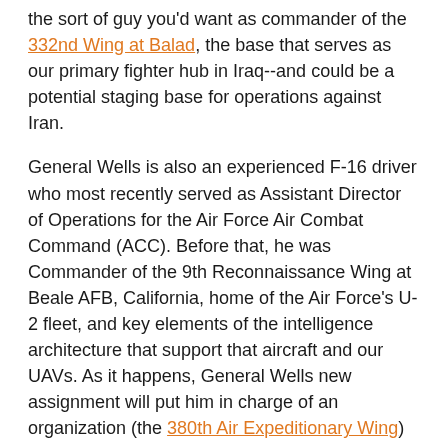the sort of guy you'd want as commander of the 332nd Wing at Balad, the base that serves as our primary fighter hub in Iraq--and could be a potential staging base for operations against Iran.
General Wells is also an experienced F-16 driver who most recently served as Assistant Director of Operations for the Air Force Air Combat Command (ACC). Before that, he was Commander of the 9th Reconnaissance Wing at Beale AFB, California, home of the Air Force's U-2 fleet, and key elements of the intelligence architecture that support that aircraft and our UAVs. As it happens, General Wells new assignment will put him in charge of an organization (the 380th Air Expeditionary Wing) that "owns" much of our air refueling and reconnaissance capability in the Persian Gulf. The 380th is located at Al Dhafra, AB, a facility used by U.S. forces since the first Gulf War.
Obviously, the assignment of two Air Force brigadier generals to lead these units is not a harbinger of imminent hostilities against Iran. But as our stand-off with Tehran nears a critical phase, it's clear that USAF leadership wants its